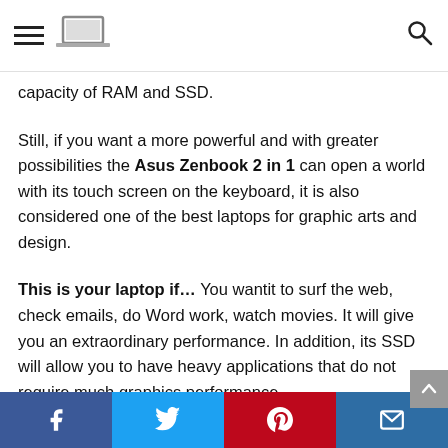[hamburger menu icon] [laptop icon] [search icon]
capacity of RAM and SSD.
Still, if you want a more powerful and with greater possibilities the Asus Zenbook 2 in 1 can open a world with its touch screen on the keyboard, it is also considered one of the best laptops for graphic arts and design.
This is your laptop if… You wantit to surf the web, check emails, do Word work, watch movies. It will give you an extraordinary performance. In addition, its SSD will allow you to have heavy applications that do not require much graphics performance.
[Facebook] [Twitter] [Pinterest] [Email]